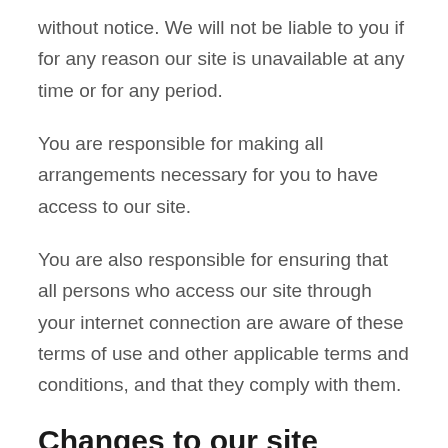without notice. We will not be liable to you if for any reason our site is unavailable at any time or for any period.
You are responsible for making all arrangements necessary for you to have access to our site.
You are also responsible for ensuring that all persons who access our site through your internet connection are aware of these terms of use and other applicable terms and conditions, and that they comply with them.
Changes to our site
We may update our site from time to time, and may